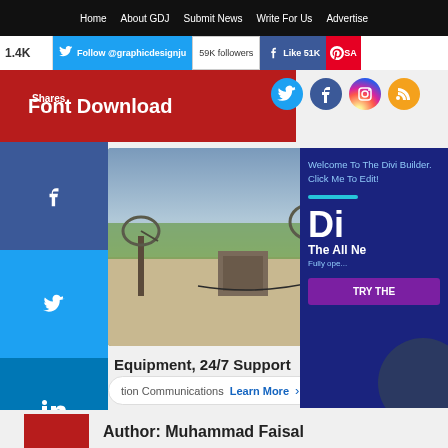Home  About GDJ  Submit News  Write For Us  Advertise
1.4K  Follow @graphicdesignju  59K followers  Like 51K  SA
Shares
Font Download
[Figure (photo): Advertisement photo showing satellite communication equipment in an outdoor field setting with cloudy sky]
Equipment, 24/7 Support
tion Communications  Learn More >
[Figure (screenshot): Right sidebar ad for Divi Builder: Welcome To The Divi Builder. Click Me To Edit! Di - The All Ne... TRY THE...]
Author: Muhammad Faisal